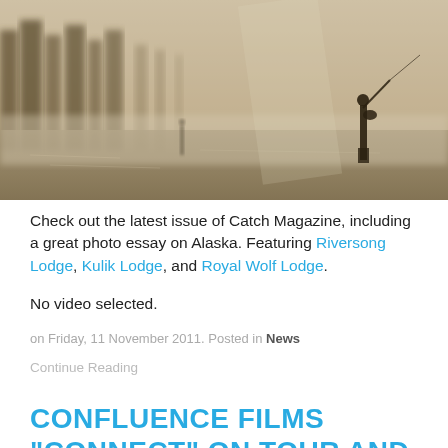[Figure (photo): Sepia-toned photo of a lone fisherman standing in a misty river with trees in the foggy background]
Check out the latest issue of Catch Magazine, including a great photo essay on Alaska. Featuring Riversong Lodge, Kulik Lodge, and Royal Wolf Lodge.
No video selected.
on Friday, 11 November 2011. Posted in News
Continue Reading
CONFLUENCE FILMS "CONNECT" ON TOUR AND